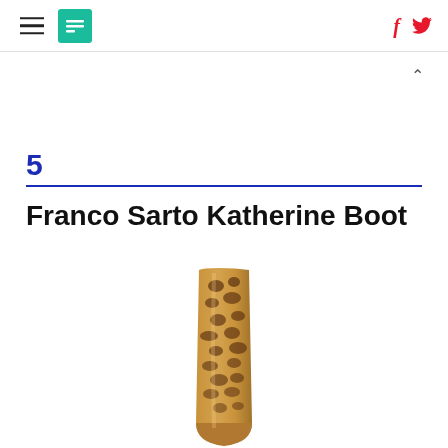HuffPost navigation header with hamburger menu, logo, Facebook and Twitter icons
5
Franco Sarto Katherine Boot
[Figure (photo): A tall knee-high boot with leopard print pattern on a white background, viewed from the side showing the shaft and toe area.]